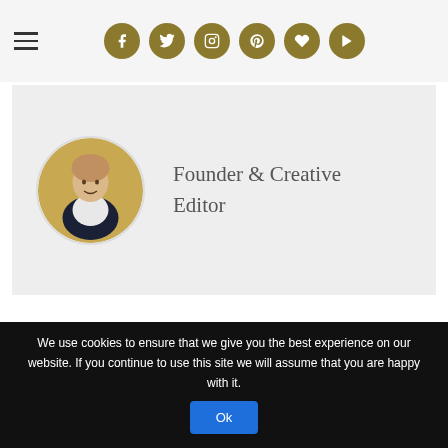Navigation and social icons header
[Figure (photo): Circular profile photo of a woman in a dark vest against autumn background, with text 'Founder & Creative Editor']
Founder & Creative Editor
9 COMMENTS
CHRISTINA D.
Very nice photos! Love the outfit 🙂
Best
We use cookies to ensure that we give you the best experience on our website. If you continue to use this site we will assume that you are happy with it.
Ok